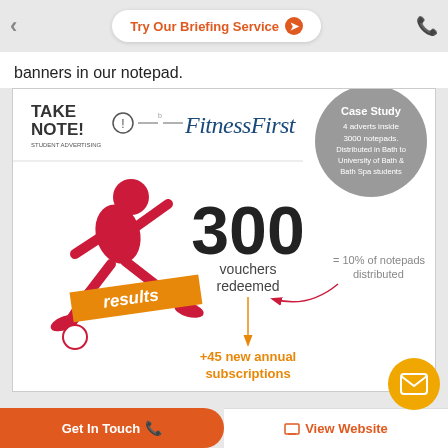Try Our Briefing Service ▶
banners in our notepad.
[Figure (infographic): Take Note Student Advertising and Fitness First case study infographic. Shows a running figure illustration with 'results' banner. 300 vouchers redeemed = 10% of notepads distributed. +45 new annual subscriptions. Case Study: 4 adverts inside 3000 notepads. Distributed in Bath to University of Bath & Bath Spa students.]
Get In Touch | View Website